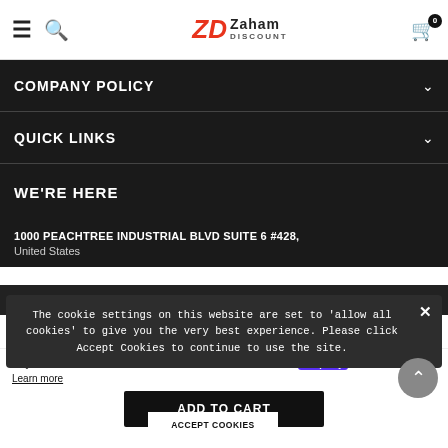Zaham Discount — navigation header with hamburger, search, logo, and cart (0 items)
COMPANY POLICY
QUICK LINKS
WE'RE HERE
1000 PEACHTREE INDUSTRIAL BLVD SUITE 6 #428, United States
Email: zaham3@gmail.com
The cookie settings on this website are set to 'allow all cookies' to give you the very best experience. Please click Accept Cookies to continue to use the site.
Sign up for latest updates...
ACCEPT COOKIES
Pay in 4 interest-free installments for orders over $50 with shop Pay
Learn more
ADD TO CART